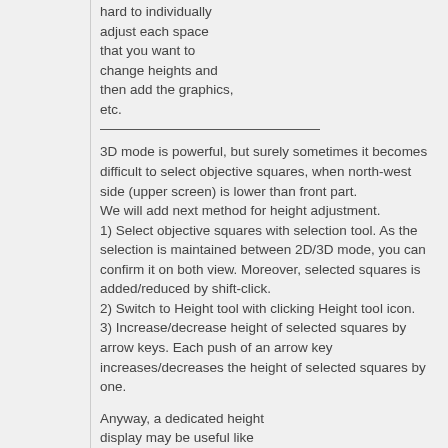hard to individually adjust each space that you want to change heights and then add the graphics, etc.
3D mode is powerful, but surely sometimes it becomes difficult to select objective squares, when north-west side (upper screen) is lower than front part.
We will add next method for height adjustment.
1) Select objective squares with selection tool. As the selection is maintained between 2D/3D mode, you can confirm it on both view. Moreover, selected squares is added/reduced by shift-click.
2) Switch to Height tool with clicking Height tool icon.
3) Increase/decrease height of selected squares by arrow keys. Each push of an arrow key increases/decreases the height of selected squares by one.
Anyway, a dedicated height display may be useful like